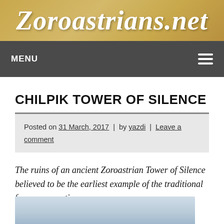Zoroastrians.net
MENU
CHILPIK TOWER OF SILENCE
Posted on 31 March, 2017 | by yazdi | Leave a comment
The ruins of an ancient Zoroastrian Tower of Silence believed to be the earliest example of the traditional funerary practice.
[Figure (photo): Partial view of an outdoor sky scene, likely showing the Chilpik Tower of Silence location]